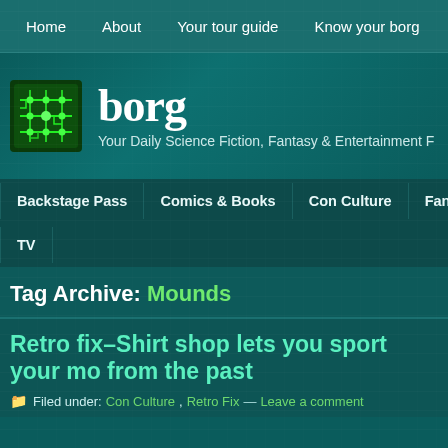Home | About | Your tour guide | Know your borg | T
[Figure (logo): Borg website logo: circuit board graphic icon in green, with site name 'borg' in large serif white text and tagline 'Your Daily Science Fiction, Fantasy & Entertainment F']
Backstage Pass | Comics & Books | Con Culture | Fant | TV
Tag Archive: Mounds
Retro fix–Shirt shop lets you sport your mo from the past
Filed under: Con Culture, Retro Fix — Leave a comment